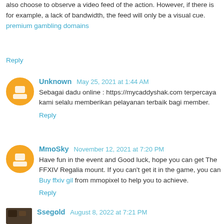also choose to observe a video feed of the action. However, if there is for example, a lack of bandwidth, the feed will only be a visual cue. premium gambling domains
Reply
Unknown May 25, 2021 at 1:44 AM
Sebagai dadu online : https://mycaddyshak.com terpercaya kami selalu memberikan pelayanan terbaik bagi member.
Reply
MmoSky November 12, 2021 at 7:20 PM
Have fun in the event and Good luck, hope you can get The FFXIV Regalia mount. If you can't get it in the game, you can Buy ffxiv gil from mmopixel to help you to achieve.
Reply
Ssegold August 8, 2022 at 7:21 PM